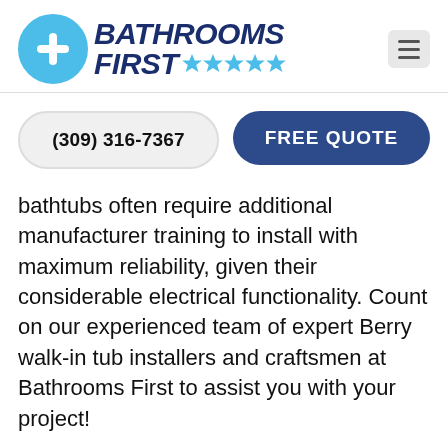[Figure (logo): Bathrooms First logo with blue circle containing white plus sign, dark navy bold italic text 'BATHROOMS FIRST' and five light blue stars]
(309) 316-7367
FREE QUOTE
bathtubs often require additional manufacturer training to install with maximum reliability, given their considerable electrical functionality. Count on our experienced team of expert Berry walk-in tub installers and craftsmen at Bathrooms First to assist you with your project!
Our team is the best walk-in tub installers in